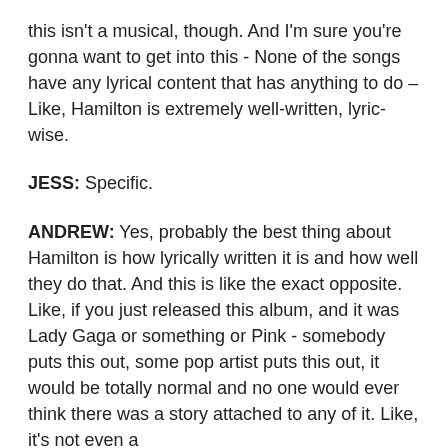this isn't a musical, though. And I'm sure you're gonna want to get into this - None of the songs have any lyrical content that has anything to do – Like, Hamilton is extremely well-written, lyric-wise.
JESS: Specific.
ANDREW: Yes, probably the best thing about Hamilton is how lyrically written it is and how well they do that. And this is like the exact opposite. Like, if you just released this album, and it was Lady Gaga or something or Pink - somebody puts this out, some pop artist puts this out, it would be totally normal and no one would ever think there was a story attached to any of it. Like, it's not even a